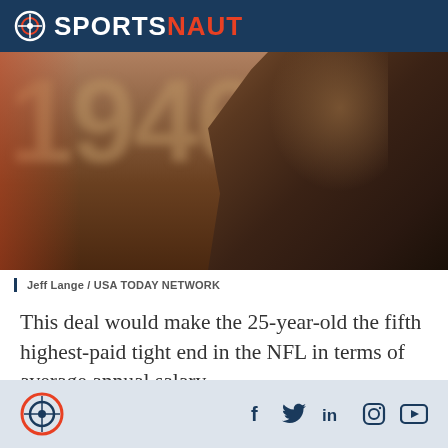SPORTSNAUT
[Figure (photo): Shirtless muscular NFL player with tattoos, looking down, with blurred number 1946 in background]
Jeff Lange / USA TODAY NETWORK
This deal would make the 25-year-old the fifth highest-paid tight end in the NFL in terms of average annual salary.
Sportsnaut logo and social media icons: Facebook, Twitter, LinkedIn, Instagram, YouTube